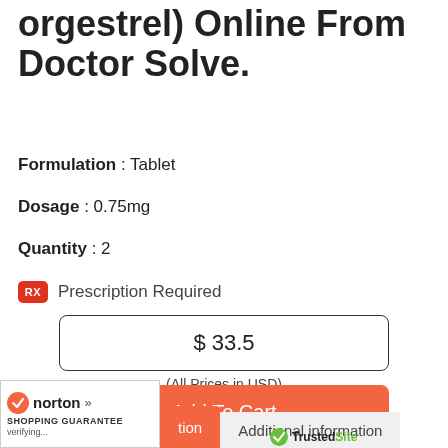orgestrel) Online From Doctor Solve.
Formulation : Tablet
Dosage : 0.75mg
Quantity : 2
RX Prescription Required
$ 33.5
(All Prices in USD)
Add To Cart
norton SHOPPING GUARANTEE verifying...
tion
Additional information
TrustedSite